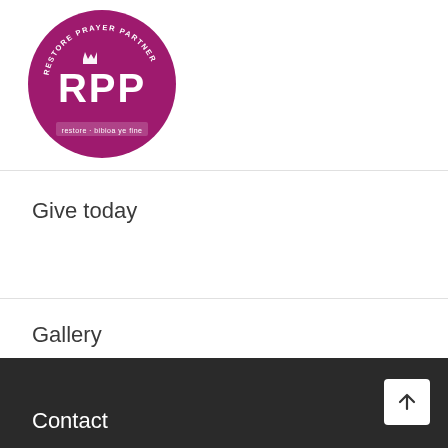[Figure (logo): Circular logo for Restore Prayer Partner (RPP) with magenta/purple background, white text reading 'RESTORE PRAYER PARTNER' around the top edge, large 'RPP' letters in the center with a small crown above the R, and 'restore · bibioa ye fine' text at the bottom]
Give today
Gallery
Contact